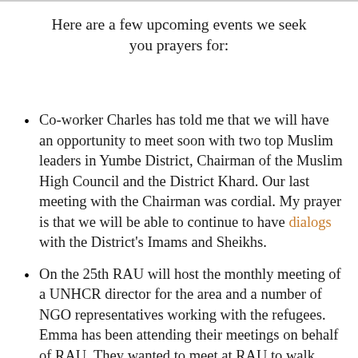Here are a few upcoming events we seek you prayers for:
Co-worker Charles has told me that we will have an opportunity to meet soon with two top Muslim leaders in Yumbe District, Chairman of the Muslim High Council and the District Khard. Our last meeting with the Chairman was cordial. My prayer is that we will be able to continue to have dialogs with the District's Imams and Sheikhs.
On the 25th RAU will host the monthly meeting of a UNHCR director for the area and a number of NGO representatives working with the refugees. Emma has been attending their meetings on behalf of RAU. They wanted to meet at RAU to walk